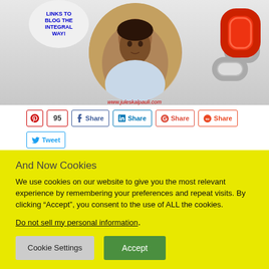[Figure (photo): Blog post image showing a woman in an oval photo frame with a thought bubble saying 'LINKS TO BLOG THE INTEGRAL WAY!', chain links on the right, and URL www.juleskalpauli.com at the bottom]
[Figure (screenshot): Social sharing buttons: Pinterest (95), Facebook Share, LinkedIn Share, Google+ Share, StumbleUpon Share, Twitter Tweet]
And Now Cookies
We use cookies on our website to give you the most relevant experience by remembering your preferences and repeat visits. By clicking “Accept”, you consent to the use of ALL the cookies.
Do not sell my personal information.
Cookie Settings   Accept